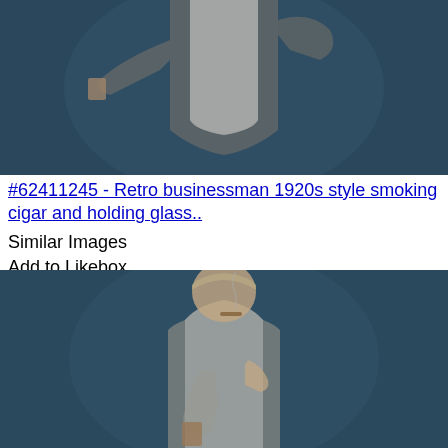[Figure (photo): Retro businessman in 1920s style vest and white shirt, holding a glass with cigar, photographed against a dark blue background, upper body cropped at top]
#62411245 - Retro businessman 1920s style smoking cigar and holding glass..
Similar Images
Add to Likebox
[Figure (photo): Retro businessman in 1920s style vest and white shirt, smoking a cigar and holding a glass, photographed against a dark blue background, full upper body visible with face shown]